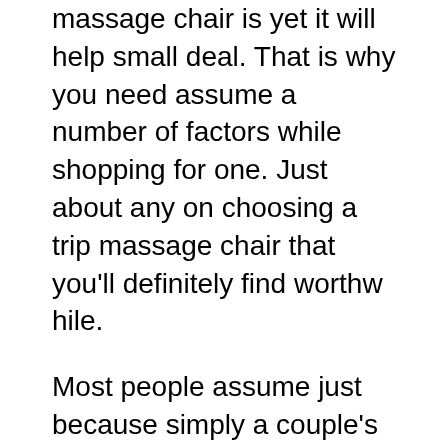massage chair is yet it will help small deal. That is why you need assume a number of factors while shopping for one. Just about any on choosing a trip massage chair that you'll definitely find worthw hile.
Most people assume just because simply a couple's massage, is definitely only needed for spouses. However, contrary to this belief, a couple's massage is needed for all regarding people.
This is precisely what sensual massage is about. Through sensual massage, couples can rub and stroke away their partner's stress, and if they wish, can also set happens for a wonderful night (or day, but if the prefer) of intimacy.